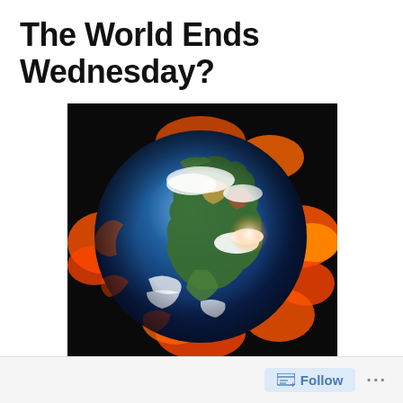The World Ends Wednesday?
[Figure (illustration): An illustration of Earth engulfed in flames/fire, shown against a black background. The globe shows continents with blue oceans, green land masses, white clouds, surrounded by orange and red fire/solar flares.]
Follow ...